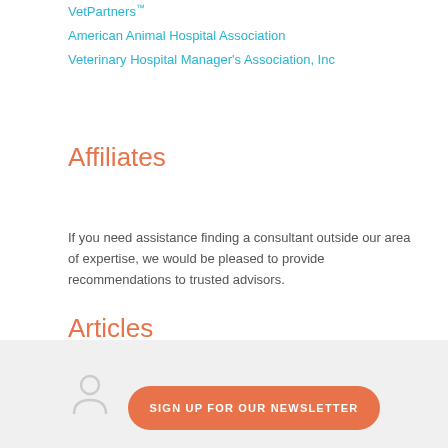VetPartners™
American Animal Hospital Association
Veterinary Hospital Manager's Association, Inc
Affiliates
If you need assistance finding a consultant outside our area of expertise, we would be pleased to provide recommendations to trusted advisors.
Articles
Check out Dr. Amanda Donnelly's Talk the Talk column and many other excellent articles.
Today's Veterinary Business
[Figure (other): Newsletter signup footer with orange rounded button reading SIGN UP FOR OUR NEWSLETTER and a person icon on the left]